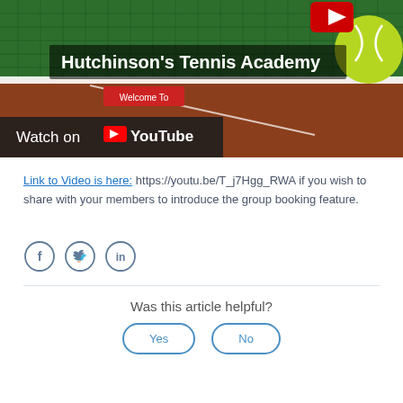[Figure (screenshot): YouTube video thumbnail showing Hutchinson's Tennis Academy with a tennis court, net, and tennis ball. Text overlay reads 'Hutchinson's Tennis Academy' and 'Welcome To'. Bottom bar shows 'Watch on YouTube' with YouTube logo. Red YouTube play button visible at top.]
Link to Video is here: https://youtu.be/T_j7Hgg_RWA if you wish to share with your members to introduce the group booking feature.
[Figure (other): Social media sharing icons: Facebook (f), Twitter (bird), LinkedIn (in) — each in a circle outline]
Was this article helpful?